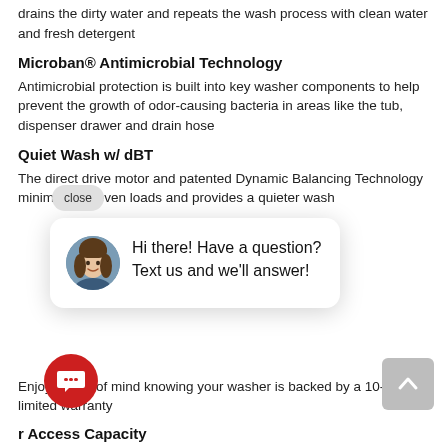drains the dirty water and repeats the wash process with clean water and fresh detergent
Microban® Antimicrobial Technology
Antimicrobial protection is built into key washer components to help prevent the growth of odor-causing bacteria in areas like the tub, dispenser drawer and drain hose
Quiet Wash w/ dBT
The direct drive motor and patented Dynamic Balancing Technology minimizes uneven loads and provides a quieter wash
[Figure (screenshot): Chat popup overlay with avatar photo of a woman and text: 'Hi there! Have a question? Text us and we’ll answer!' with a close button and a red circular chat button]
action to
Enjoy peace of mind knowing your washer is backed by a 10-year limited warranty
r Access Capacity
Enjoy large capacity and still reach the bottom of the washer with comfort and ease